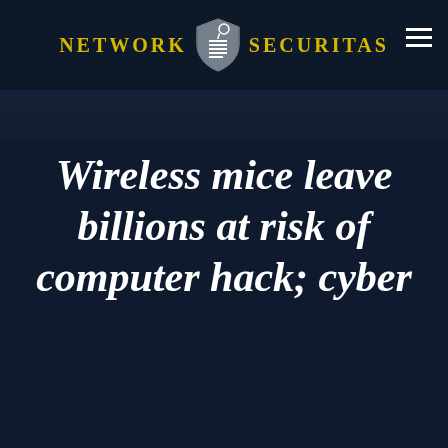NETWORK SECURITAS
Wireless mice leave billions at risk of computer hack; cyber